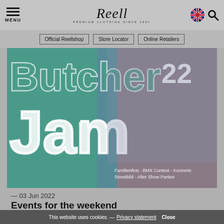MENU | Reell PREMIUM CLOTHING SINCE 1997 | [UK flag] [Search]
Official Reellshop | Store Locator | Online Retailers
[Figure (photo): Butcher Jam 22 event poster with teal and salmon/pink background. Large stylized text reading 'Butcher Jam' with '22' in top right corner. Overlaid with a BMX rider action photo. Small text at bottom: 'Familienfest - BMX Contest - Konzerte Streetbild - After Show Parties']
— 03 Jun 2022
Events for the weekend
Contest Mannheim (Germany) & BMX Butcher Jam (Flensburg / Germany)
This website uses cookies. — Privacy statement Close